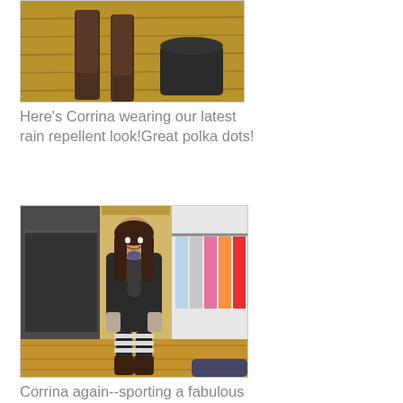[Figure (photo): Top portion of a photo showing boots/shoes on a wooden floor with a dark hat/bag]
Here's Corrina wearing our latest rain repellent look!Great polka dots!
[Figure (photo): Woman named Corrina standing in a clothing store wearing a dark rain coat with ruffles and striped leg warmers/boots, with clothing racks visible in background]
Corrina again--sporting a fabulous